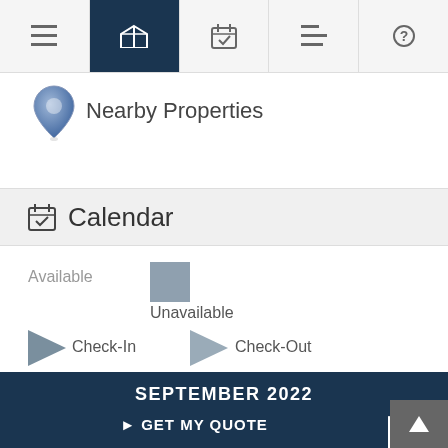[Figure (screenshot): Top navigation bar with 5 icons: hamburger menu, map (active/highlighted in dark navy), calendar with checkmark, list, and help/question mark icons]
[Figure (illustration): Blue map pin / location marker icon]
Nearby Properties
Calendar
Available
[Figure (illustration): Gray square swatch representing Unavailable calendar dates]
Unavailable
[Figure (illustration): Dark gray left-pointing triangle representing Check-In]
Check-In
[Figure (illustration): Gray left-pointing triangle representing Check-Out]
Check-Out
SEPTEMBER 2022
Sun Mon Tue Wed Thu Fri Sat
> GET MY QUOTE